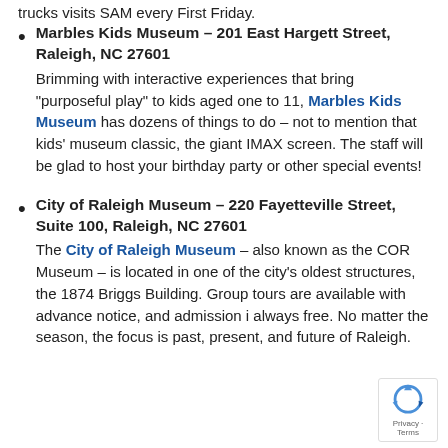trucks visits SAM every First Friday.
Marbles Kids Museum – 201 East Hargett Street, Raleigh, NC 27601
Brimming with interactive experiences that bring "purposeful play" to kids aged one to 11, Marbles Kids Museum has dozens of things to do – not to mention that kids' museum classic, the giant IMAX screen. The staff will be glad to host your birthday party or other special events!
City of Raleigh Museum – 220 Fayetteville Street, Suite 100, Raleigh, NC 27601
The City of Raleigh Museum – also known as the COR Museum – is located in one of the city's oldest structures, the 1874 Briggs Building. Group tours are available with advance notice, and admission is always free. No matter the season, the focus is past, present, and future of Raleigh.